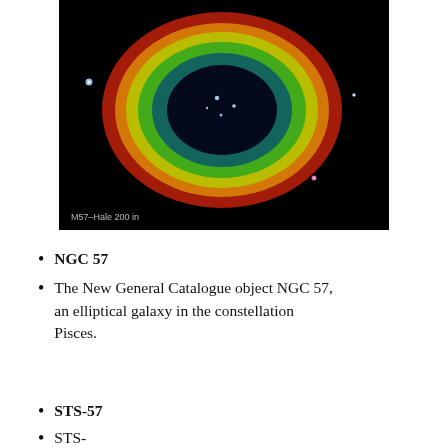[Figure (photo): Astronomical photograph of the Ring Nebula (M57), showing a colorful ring-shaped nebula with a dark blue-black center, surrounded by green and yellow-orange rings, against a black background. Caption text in lower-left reads 'M57-Hale 200 in'.]
NGC 57
The New General Catalogue object NGC 57, an elliptical galaxy in the constellation Pisces.
STS-57
STS-57...